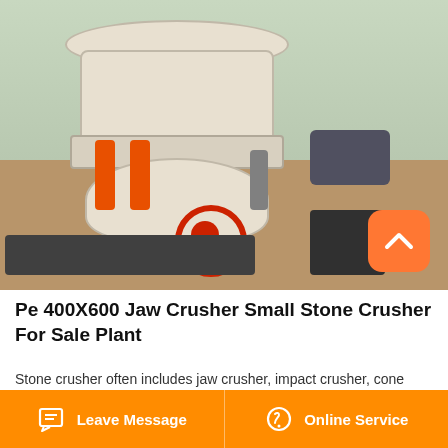[Figure (photo): Cone crusher machine (Pe 400X600 jaw crusher / small stone crusher) photographed indoors on dirt floor, showing cream/white body with orange hydraulic cylinders, red wheel, and electric motor on the right side]
Pe 400X600 Jaw Crusher Small Stone Crusher For Sale Plant
Stone crusher often includes jaw crusher, impact crusher, cone crusher, mobile crusher and mining machine. PE150×250, PE 200...
Leave Message   Online Service